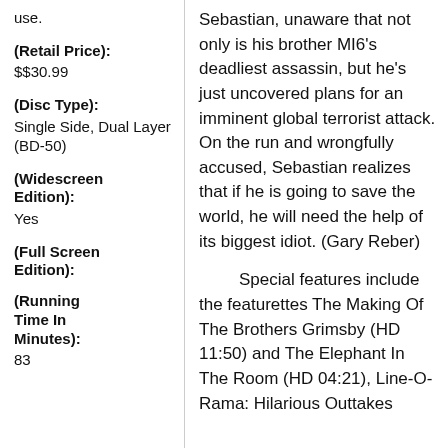use.
(Retail Price): $$30.99
(Disc Type): Single Side, Dual Layer (BD-50)
(Widescreen Edition): Yes
(Full Screen Edition):
(Running Time In Minutes): 83
Sebastian, unaware that not only is his brother MI6's deadliest assassin, but he's just uncovered plans for an imminent global terrorist attack. On the run and wrongfully accused, Sebastian realizes that if he is going to save the world, he will need the help of its biggest idiot. (Gary Reber)
Special features include the featurettes The Making Of The Brothers Grimsby (HD 11:50) and The Elephant In The Room (HD 04:21), Line-O-Rama: Hilarious Outtakes